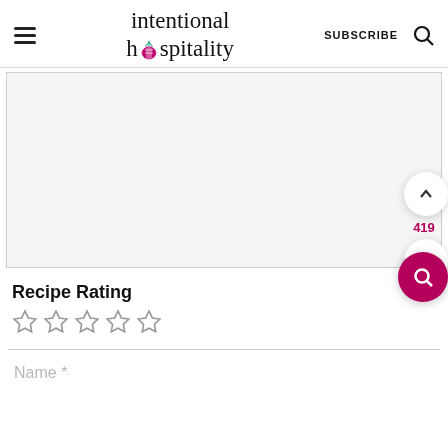intentional hospitality | SUBSCRIBE
[Figure (photo): Blank/white image area placeholder]
Recipe Rating
☆☆☆☆☆ (5 empty stars)
Name *